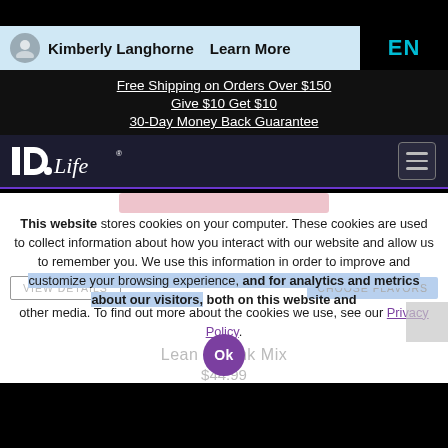Kimberly Langhorne   Learn More   EN
Free Shipping on Orders Over $150
Give $10 Get $10
30-Day Money Back Guarantee
[Figure (logo): IDLife logo in white on dark background, with hamburger menu icon]
This website stores cookies on your computer. These cookies are used to collect information about how you interact with our website and allow us to remember you. We use this information in order to improve and customize your browsing experience, and for analytics and metrics about our visitors, both on this website and other media. To find out more about the cookies we use, see our Privacy Policy.
Lean Pink Mix
$44.99